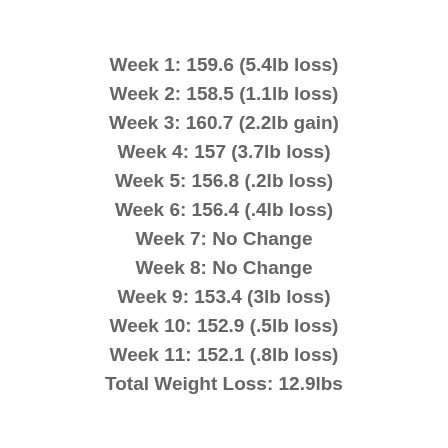Week 1: 159.6 (5.4lb loss)
Week 2: 158.5 (1.1lb loss)
Week 3: 160.7 (2.2lb gain)
Week 4: 157 (3.7lb loss)
Week 5: 156.8 (.2lb loss)
Week 6: 156.4 (.4lb loss)
Week 7: No Change
Week 8: No Change
Week 9: 153.4 (3lb loss)
Week 10: 152.9 (.5lb loss)
Week 11: 152.1 (.8lb loss)
Total Weight Loss: 12.9lbs